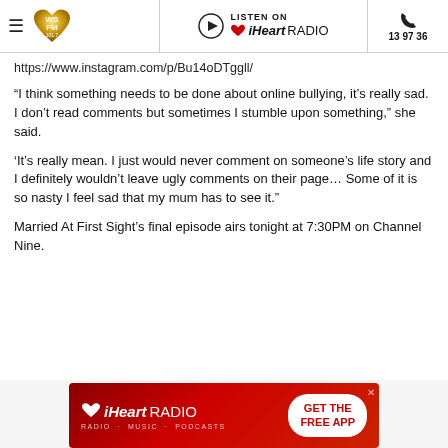WSFM 101.7 | LISTEN ON iHeartRADIO | 13 97 36
https://www.instagram.com/p/Bu14oDTggll/
“I think something needs to be done about online bullying, it’s really sad. I don’t read comments but sometimes I stumble upon something,” she said.
‘It’s really mean. I just would never comment on someone’s life story and I definitely wouldn’t leave ugly comments on their page… Some of it is so nasty I feel sad that my mum has to see it.”
Married At First Sight’s final episode airs tonight at 7:30PM on Channel Nine.
[Figure (advertisement): iHeartRADIO advertisement banner with red gradient background, iHeart logo on left, and GET THE FREE APP button on right]